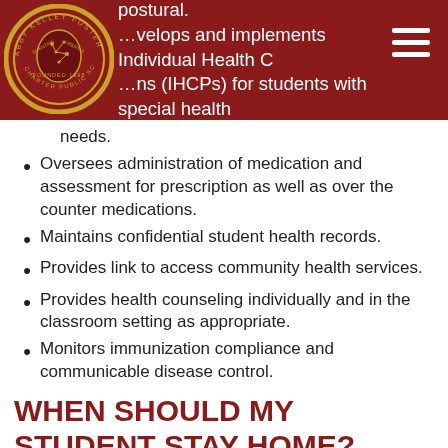postural. Develops and implements Individual Health Care Plans (IHCPs) for students with special health needs.
Oversees administration of medication and assessment for prescription as well as over the counter medications.
Maintains confidential student health records.
Provides link to access community health services.
Provides health counseling individually and in the classroom setting as appropriate.
Monitors immunization compliance and communicable disease control.
WHEN SHOULD MY STUDENT STAY HOME?
If your student has had a fever over 100.4 degrees within the past 24 hours.